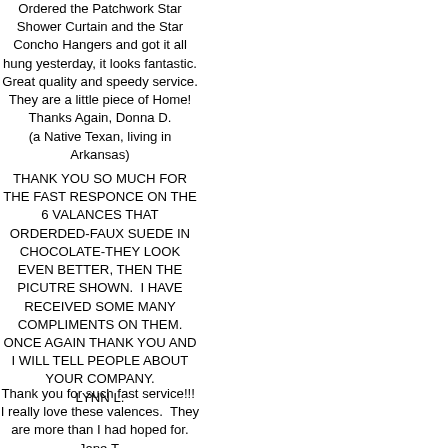Ordered the Patchwork Star Shower Curtain and the Star Concho Hangers and got it all hung yesterday, it looks fantastic.
Great quality and speedy service. They are a little piece of Home!
Thanks Again, Donna D.
(a Native Texan, living in Arkansas)
THANK YOU SO MUCH FOR THE FAST RESPONCE ON THE 6 VALANCES THAT ORDERDED-FAUX SUEDE IN CHOCOLATE-THEY LOOK EVEN BETTER, THEN THE PICUTRE SHOWN.  I HAVE RECEIVED SOME MANY COMPLIMENTS ON THEM. ONCE AGAIN THANK YOU AND I WILL TELL PEOPLE ABOUT YOUR COMPANY.
LYNN L.
Thank you for such fast service!!!  I really love these valences.  They are more than I had hoped for.
Jane T.